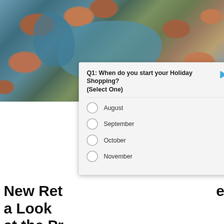[Figure (photo): Aerial view of a residential community with terracotta-roofed houses alongside winding waterways and palm trees]
Advertisement
Q1: When do you start your Holiday Shopping? (Select One)
August
September
October
November
New Ret... e a Look at the Pr...
senior living | Sponsored
[Figure (photo): Two side-by-side images: left shows an elderly man with white hair in a hallway with a News Assistant badge overlay; right shows what appears to be food in a cast iron pan]
Advertisement
Ashburn  OPEN | 8AM–9PM
44175 Ashbrook Marketplace Plaza,